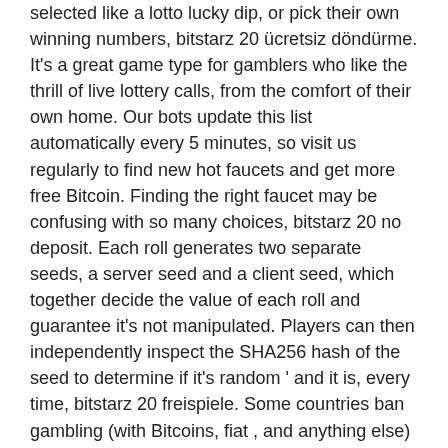selected like a lotto lucky dip, or pick their own winning numbers, bitstarz 20 ücretsiz döndürme. It's a great game type for gamblers who like the thrill of live lottery calls, from the comfort of their own home. Our bots update this list automatically every 5 minutes, so visit us regularly to find new hot faucets and get more free Bitcoin. Finding the right faucet may be confusing with so many choices, bitstarz 20 no deposit. Each roll generates two separate seeds, a server seed and a client seed, which together decide the value of each roll and guarantee it's not manipulated. Players can then independently inspect the SHA256 hash of the seed to determine if it's random ' and it is, every time, bitstarz 20 freispiele. Some countries ban gambling (with Bitcoins, fiat , and anything else) on certain games. In some countries, the legality of gambling Bitcoin is a question of what you're betting on, bitstarz 20 фриспинов. Not So Fast: